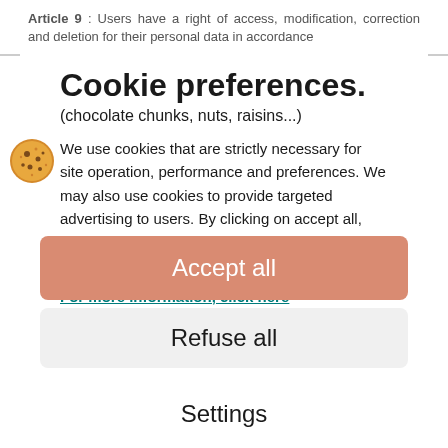Article 9 : Users have a right of access, modification, correction and deletion for their personal data in accordance
Cookie preferences.
(chocolate chunks, nuts, raisins...)
We use cookies that are strictly necessary for site operation, performance and preferences. We may also use cookies to provide targeted advertising to users. By clicking on accept all, you consent to the use of these cookies for the purposes described in our cookie policy. For more information, click here
Accept all
Refuse all
Settings